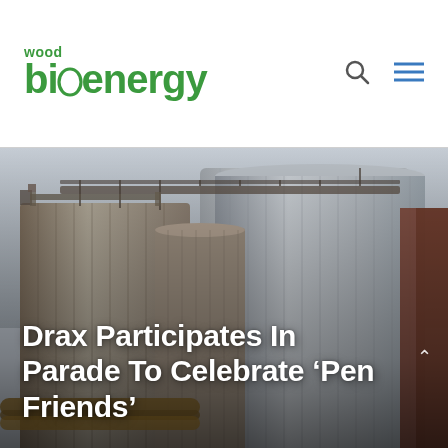wood bioenergy
[Figure (photo): Photograph of large industrial grain/biomass storage silos with metal framework, conveyors on top, and pipes at the bottom, overcast sky background]
Drax Participates In Parade To Celebrate ‘Pen Friends’